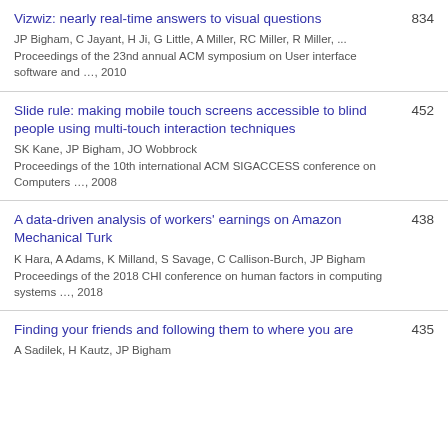Vizwiz: nearly real-time answers to visual questions
JP Bigham, C Jayant, H Ji, G Little, A Miller, RC Miller, R Miller, ...
Proceedings of the 23nd annual ACM symposium on User interface software and …, 2010
834
Slide rule: making mobile touch screens accessible to blind people using multi-touch interaction techniques
SK Kane, JP Bigham, JO Wobbrock
Proceedings of the 10th international ACM SIGACCESS conference on Computers …, 2008
452
A data-driven analysis of workers' earnings on Amazon Mechanical Turk
K Hara, A Adams, K Milland, S Savage, C Callison-Burch, JP Bigham
Proceedings of the 2018 CHI conference on human factors in computing systems …, 2018
438
Finding your friends and following them to where you are
A Sadilek, H Kautz, JP Bigham
435